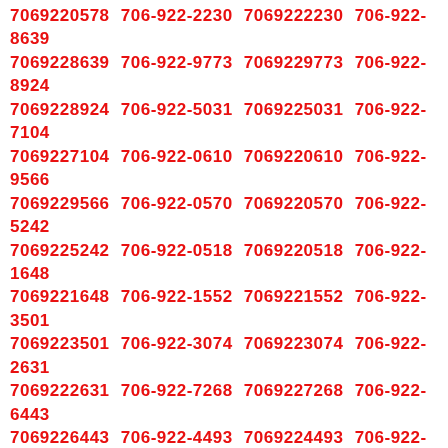7069220578 706-922-2230 7069222230 706-922-8639 7069228639 706-922-9773 7069229773 706-922-8924 7069228924 706-922-5031 7069225031 706-922-7104 7069227104 706-922-0610 7069220610 706-922-9566 7069229566 706-922-0570 7069220570 706-922-5242 7069225242 706-922-0518 7069220518 706-922-1648 7069221648 706-922-1552 7069221552 706-922-3501 7069223501 706-922-3074 7069223074 706-922-2631 7069222631 706-922-7268 7069227268 706-922-6443 7069226443 706-922-4493 7069224493 706-922-9524 7069229524 706-922-4128 7069224128 706-922-3919 7069223919 706-922-4666 7069224666 706-922-4838 7069224838 706-922-0382 7069220382 706-922-7469 7069227469 706-922-4586 7069224586 706-922-4761 7069224761 706-922-9011 7069229011 706-922-6148 7069226148 706-922-0369 7069220369 706-922-0192 7069220192 706-922-9431 7069229431 706-922-9719 7069229719 706-922-3714 7069223714 706-922-0591 7069220591 706-922-9087 7069229087 706-922-1664 7069221664 706-922-7875 7069227875 706-922-9177 7069229177 706-922-0428 7069220428 706-922-2012 7069222012 706-922-6402 7069226402 706-922-1432 7069221432 706-922-1162 7069221162 706-922-7330 7069227330 706-922-4518 7069224518 706-922-2878 7069222878 706-922-5674 7069225674 706-922-5581